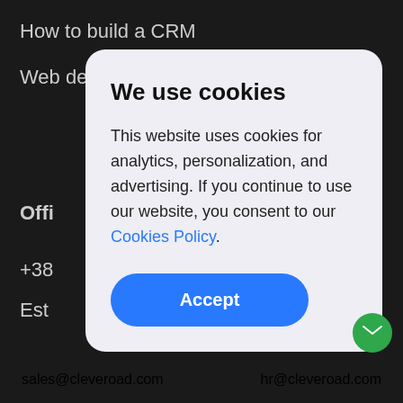How to build a CRM
Web design process
Offi
+38
Est
+1 4
USA
Em
Bui
We use cookies
This website uses cookies for analytics, personalization, and advertising. If you continue to use our website, you consent to our Cookies Policy.
Accept
sales@cleveroad.com    hr@cleveroad.com